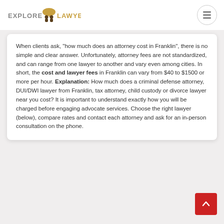EXPLORE LAWYERS.COM
When clients ask, "how much does an attorney cost in Franklin", there is no simple and clear answer. Unfortunately, attorney fees are not standardized, and can range from one lawyer to another and vary even among cities. In short, the cost and lawyer fees in Franklin can vary from $40 to $1500 or more per hour. Explanation: How much does a criminal defense attorney, DUI/DWI lawyer from Franklin, tax attorney, child custody or divorce lawyer near you cost? It is important to understand exactly how you will be charged before engaging advocate services. Choose the right lawyer (below), compare rates and contact each attorney and ask for an in-person consultation on the phone.